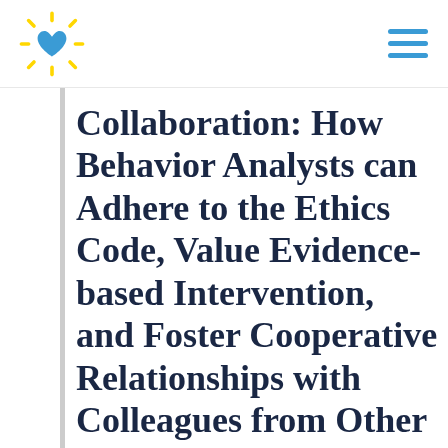[Logo: sun with heart] [Hamburger menu icon]
Collaboration: How Behavior Analysts can Adhere to the Ethics Code, Value Evidence-based Intervention, and Foster Cooperative Relationships with Colleagues from Other Professions with Dr. Mary Jane Weiss, BCBA-D